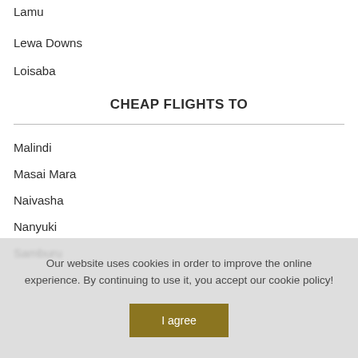Lamu
Lewa Downs
Loisaba
CHEAP FLIGHTS TO
Malindi
Masai Mara
Naivasha
Nanyuki
Samburu
Our website uses cookies in order to improve the online experience. By continuing to use it, you accept our cookie policy!
I agree